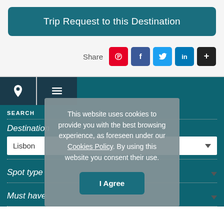Trip Request to this Destination
Share
[Figure (infographic): Social share buttons: Pinterest (red), Facebook (blue), Twitter (light blue), LinkedIn (dark blue), More (black plus sign)]
[Figure (infographic): Navigation tabs: pin/location icon tab and list/menu icon tab on dark background]
SEARCH
Destination
Lisbon
Spot type
Must have
This website uses cookies to provide you with the best browsing experience, as foreseen under our Cookies Policy. By using this website you consent their use.
I Agree